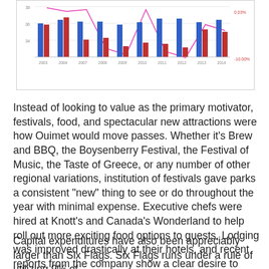[Figure (grouped-bar-chart): Attendance and change chart 2003-2014]
Instead of looking to value as the primary motivator, festivals, food, and spectacular new attractions were how Ouimet would move passes. Whether it's Brew and BBQ, the Boysenberry Festival, the Festival of Music, the Taste of Greece, or any number of other regional variations, institution of festivals gave parks a consistent "new" thing to see or do throughout the year with minimal expense. Executive chefs were hired at Knott's and Canada's Wonderland to help roll out more exciting food options to guests. Lodging was improved drastically at their hotels, and recent reports from the company show a clear desire to build on-site rooms at both Carowinds and Canada's Wonderland.
Capital expenditures have also been appreciably larger than Six Flags. Six Flags runs under a rule of utilizing 9% of